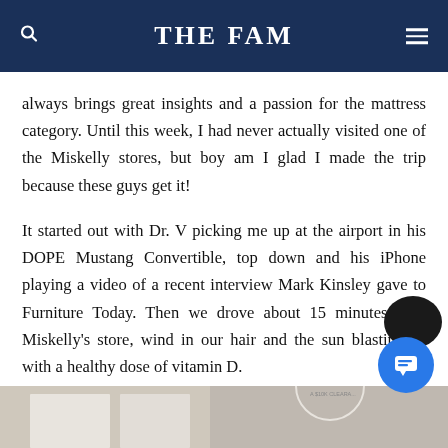THE FAM
always brings great insights and a passion for the mattress category. Until this week, I had never actually visited one of the Miskelly stores, but boy am I glad I made the trip because these guys get it!
It started out with Dr. V picking me up at the airport in his DOPE Mustang Convertible, top down and his iPhone playing a video of a recent interview Mark Kinsley gave to Furniture Today. Then we drove about 15 minutes to a Miskelly's store, wind in our hair and the sun blasting us with a healthy dose of vitamin D.
[Figure (photo): Bottom strip showing partial image of mattresses/furniture in a store]